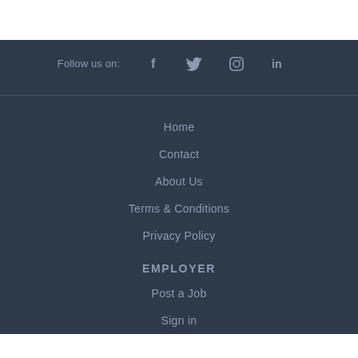Follow us on: f  twitter  instagram  in
Home
Contact
About Us
Terms & Conditions
Privacy Policy
EMPLOYER
Post a Job
Sign in